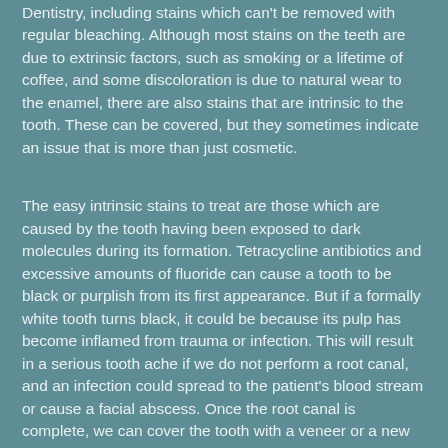Dentistry, including stains which can't be removed with regular bleaching. Although most stains on the teeth are due to extrinsic factors, such as smoking or a lifetime of coffee, and some discoloration is due to natural wear to the enamel, there are also stains that are intrinsic to the tooth. These can be covered, but they sometimes indicate an issue that is more than just cosmetic.
The easy intrinsic stains to treat are those which are caused by the tooth having been exposed to dark molecules during its formation. Tetracycline antibiotics and excessive amounts of fluoride can cause a tooth to be black or purplish from its first appearance. But if a formally white tooth turns black, it could be because its pulp has become inflamed from trauma or infection. This will result in a serious tooth ache if we do not perform a root canal, and an infection could spread to the patient's blood stream or cause a facial abscess. Once the root canal is complete, we can cover the tooth with a veneer or a new crown.